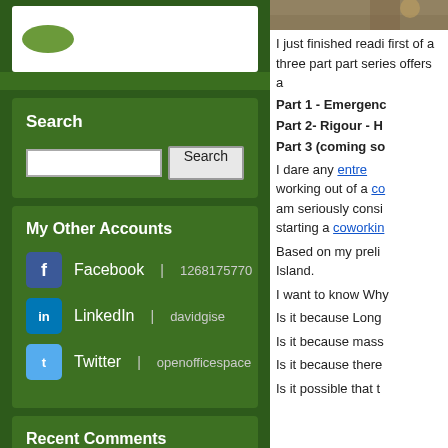[Figure (logo): Green oval logo on white background]
Search
Search input field and Search button
My Other Accounts
Facebook | 1268175770
LinkedIn | davidgise
Twitter | openofficespace
Recent Comments
shalle2579mm: Mlb jerseys HANOI, July 6 () -- The two-day Vie... more »
[Figure (photo): Outdoor photo at top of right column]
I just finished readi first of a three part part series offers a
Part 1 - Emergen
Part 2- Rigour - H
Part 3 (coming so
I dare any entrepre working out of a co am seriously consi starting a coworkin
Based on my preli Island.
I want to know Why
Is it because Long
Is it because mass
Is it because there
Is it possible that t